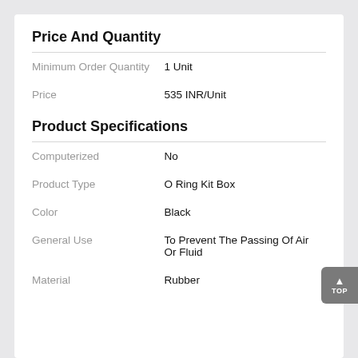Price And Quantity
|  |  |
| --- | --- |
| Minimum Order Quantity | 1 Unit |
| Price | 535 INR/Unit |
Product Specifications
|  |  |
| --- | --- |
| Computerized | No |
| Product Type | O Ring Kit Box |
| Color | Black |
| General Use | To Prevent The Passing Of Air Or Fluid |
| Material | Rubber |